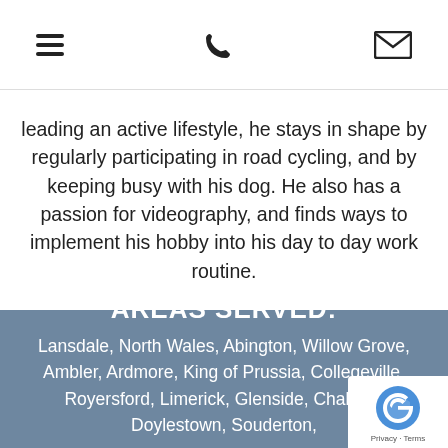[navigation bar with hamburger menu, phone icon, and envelope icon]
leading an active lifestyle, he stays in shape by regularly participating in road cycling, and by keeping busy with his dog. He also has a passion for videography, and finds ways to implement his hobby into his day to day work routine.
AREAS SERVED:
Lansdale, North Wales, Abington, Willow Grove, Ambler, Ardmore, King of Prussia, Collegeville, Royersford, Limerick, Glenside, Chalfont, Doylestown, Souderton,